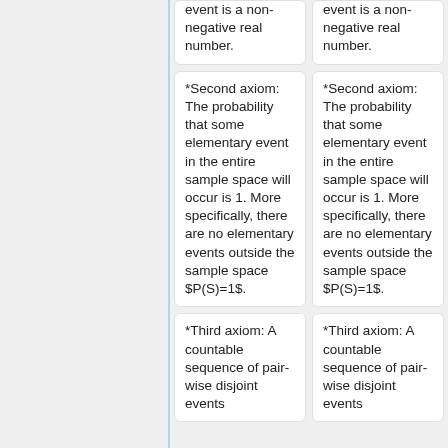event is a non-negative real number.
event is a non-negative real number.
*Second axiom: The probability that some elementary event in the entire sample space will occur is 1. More specifically, there are no elementary events outside the sample space $P(S)=1$.
*Second axiom: The probability that some elementary event in the entire sample space will occur is 1. More specifically, there are no elementary events outside the sample space $P(S)=1$.
*Third axiom: A countable sequence of pair-wise disjoint events
*Third axiom: A countable sequence of pair-wise disjoint events